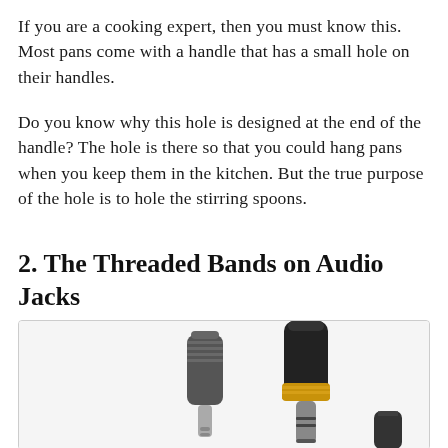If you are a cooking expert, then you must know this. Most pans come with a handle that has a small hole on their handles.
Do you know why this hole is designed at the end of the handle? The hole is there so that you could hang pans when you keep them in the kitchen. But the true purpose of the hole is to hole the stirring spoons.
2. The Threaded Bands on Audio Jacks
[Figure (photo): Two audio jack connectors side by side. Left: a smaller grey/silver 2.5mm audio jack with a threaded grey plastic body. Right: a larger black 3.5mm audio jack with a gold-colored threaded band and black plastic body. A third partial jack is visible at the bottom right.]